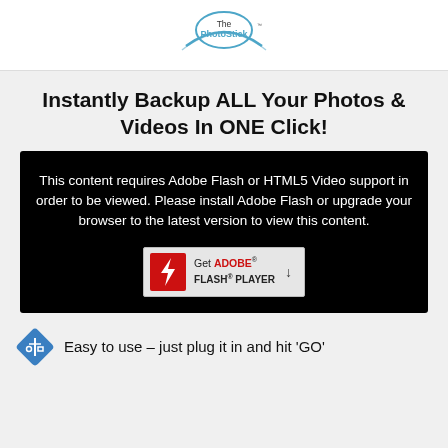ThePhotoStick
Instantly Backup ALL Your Photos & Videos In ONE Click!
[Figure (screenshot): Black video player box showing Adobe Flash error message: 'This content requires Adobe Flash or HTML5 Video support in order to be viewed. Please install Adobe Flash or upgrade your browser to the latest version to view this content.' with a Get Adobe Flash Player button.]
Easy to use – just plug it in and hit 'GO'